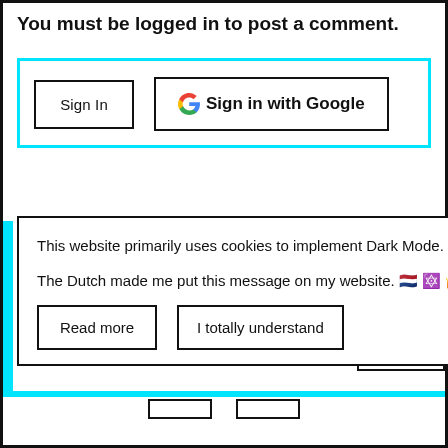You must be logged in to post a comment.
[Figure (screenshot): Login buttons area with cyan border: 'Sign In' button and 'Sign in with Google' button with Google G logo]
This website primarily uses cookies to implement Dark Mode.

The Dutch made me put this message on my website. 🇳🇱🔪🤷
[Figure (screenshot): Cookie consent box with 'Read more' and 'I totally understand' buttons]
Post
urbation
thy?